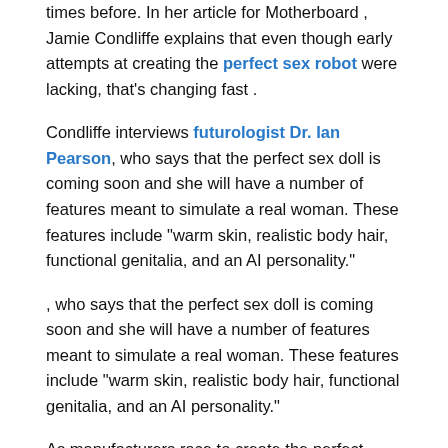times before. In her article for Motherboard , Jamie Condliffe explains that even though early attempts at creating the perfect sex robot were lacking, that's changing fast .
Condliffe interviews futurologist Dr. Ian Pearson, who says that the perfect sex doll is coming soon and she will have a number of features meant to simulate a real woman. These features include "warm skin, realistic body hair, functional genitalia, and an AI personality."
, who says that the perfect sex doll is coming soon and she will have a number of features meant to simulate a real woman. These features include "warm skin, realistic body hair, functional genitalia, and an AI personality."
As manufacturers race to create the perfect sexbot, it's important to consider what this means for our society. Dr. Pearson believes that these dolls will lead to fewer divorces, as men will be able to find all the physical and emotional satisfaction they need from